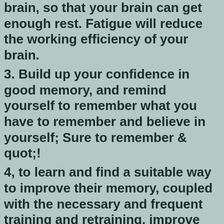brain, so that your brain can get enough rest. Fatigue will reduce the working efficiency of your brain.
3. Build up your confidence in good memory, and remind yourself to remember what you have to remember and believe in yourself; Sure to remember & quot;!
4, to learn and find a suitable way to improve their memory, coupled with the necessary and frequent training and retraining, improve and improve.
5. To maintain a strong interest in the world, interest is the first driving force of memory.